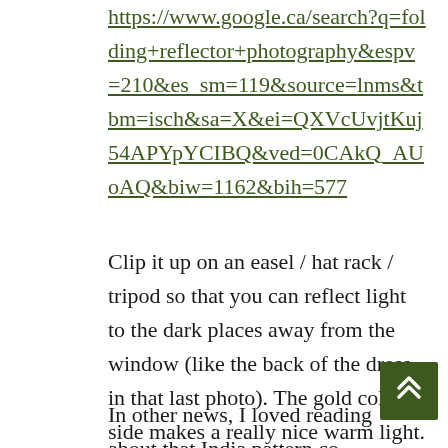https://www.google.ca/search?q=folding+reflector+photography&espv=210&es_sm=119&source=lnms&tbm=isch&sa=X&ei=QXVcUvjtKuj54APYpYCIBQ&ved=0CAkQ_AUoAQ&biw=1162&bih=577
Clip it up on an easel / hat rack / tripod so that you can reflect light to the dark places away from the window (like the back of the dress in that last photo). The gold color side makes a really nice warm light.
In other news, I loved reading about that India pattern co...